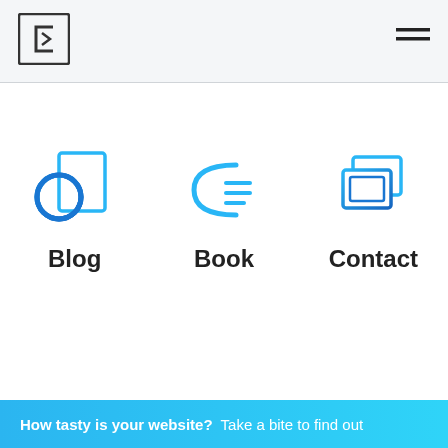[Figure (logo): FiveByFive arrow logo mark in header, white arrow icon in dark square]
[Figure (logo): Hamburger menu icon (three horizontal lines)]
[Figure (illustration): Blog icon: blue circle overlapping a rectangle (document/page icon) in cyan-blue gradient]
Blog
[Figure (illustration): Book icon: open book represented by a curved line with horizontal lines, in cyan-blue]
Book
[Figure (illustration): Contact icon: two overlapping rectangles/screens in cyan-blue gradient]
Contact
[Figure (logo): FiveByFive logo: dark square with arrow mark and FIVEBYFIVE text, followed by 16 YEARS STRONG badge]
How tasty is your website?  Take a bite to find out